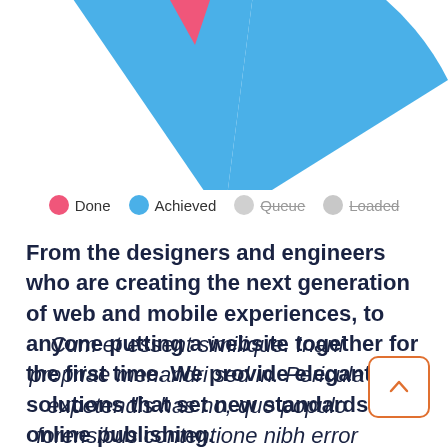[Figure (donut-chart): Partial donut/pie chart visible at top of page. Large blue arc and small pink/red triangle segment visible, cropped at top.]
Done   Achieved   Queue   Loaded
From the designers and engineers who are creating the next generation of web and mobile experiences, to anyone putting a website together for the first time. We provide elegant solutions that set new standards for online publishing.
Cum et essent similique. Inani propriae menandri sed in. Pericula expetendis has no, quo populo forensibus contentione nibh error in per.